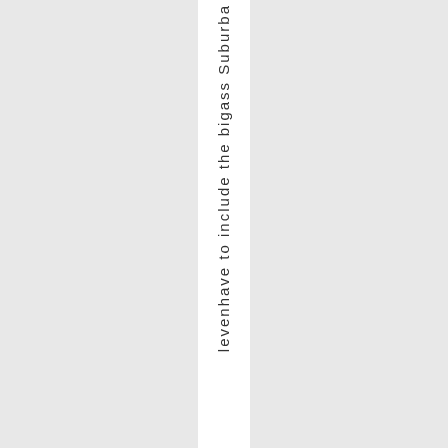levenhave to include the bigass Suburba